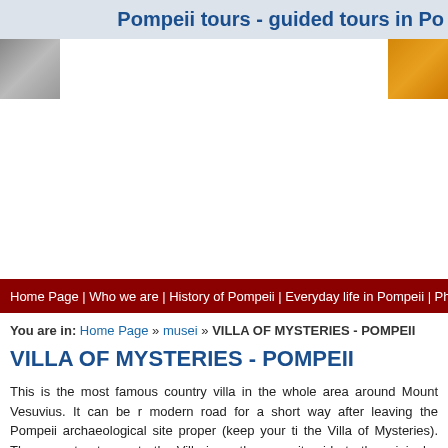Pompeii tours - guided tours in Po
[Figure (photo): Website banner with a photo on the left (grey/dark tones) and an orange/gold section on the right]
Home Page | Who we are | History of Pompeii | Everyday life in Pompeii | Photogallery |
You are in: Home Page » musei » VILLA OF MYSTERIES - POMPEII
VILLA OF MYSTERIES - POMPEII
This is the most famous country villa in the whole area around Mount Vesuvius. It can be reached by following the modern road for a short way after leaving the Pompeii archaeological site proper (keep your ticket as it also gives access to the Villa of Mysteries). The current entrance to the Villa is on the opposite side to the original portal, which is about 800 metres from the Porta Ercolano gate along the road leading out of the town. The villa owes its name to the magnificent paintings in the triclinium which make up an almost photographic sequence of theatrical scenes, and is divided into two areas. The main area is exclusively residential and was built in the 2nd century B.C. which gradually became a luxurious and comfortable place in which to live. The other part is linked to the villa's role as a working farmhouse, with a view to accommodating the produce of the surrounding countryside. It was added onto the original structure in 60 A.D.. In the farm area, on the right of the main entrance, archaeologists found the wine-press building where the wine was made. On the opposite side of the peristyle are the kitchens, two ovens in the